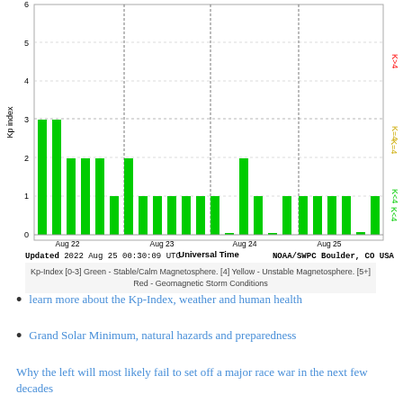[Figure (bar-chart): Kp Index]
Updated 2022 Aug 25 00:30:09 UTC                    NOAA/SWPC Boulder, CO USA
Kp-Index [0-3] Green - Stable/Calm Magnetosphere. [4] Yellow - Unstable Magnetosphere. [5+] Red - Geomagnetic Storm Conditions
learn more about the Kp-Index, weather and human health
Grand Solar Minimum, natural hazards and preparedness
Why the left will most likely fail to set off a major race war in the next few decades